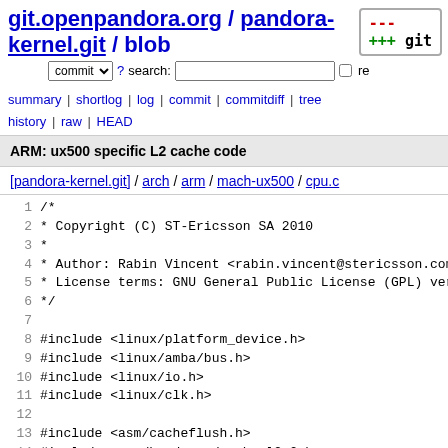git.openpandora.org / pandora-kernel.git / blob
summary | shortlog | log | commit | commitdiff | tree history | raw | HEAD
ARM: ux500 specific L2 cache code
[pandora-kernel.git] / arch / arm / mach-ux500 / cpu.c
1  /*
2   * Copyright (C) ST-Ericsson SA 2010
3   *
4   * Author: Rabin Vincent <rabin.vincent@stericsson.com>
5   * License terms: GNU General Public License (GPL) vers
6   */
7
8  #include <linux/platform_device.h>
9  #include <linux/amba/bus.h>
10 #include <linux/io.h>
11 #include <linux/clk.h>
12
13 #include <asm/cacheflush.h>
14 #include <asm/hardware/cache-l2x0.h>
15 #include <asm/hardware/gic.h>
16 #include <asm/mach/map.h>
17 #include <asm/localtimer.h>
18
19 #include <plat/mtu.h>